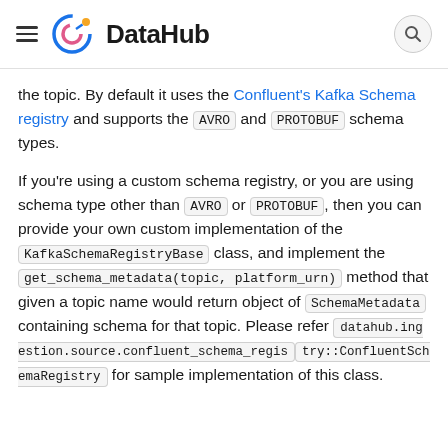DataHub
the topic. By default it uses the Confluent's Kafka Schema registry and supports the AVRO and PROTOBUF schema types.
If you're using a custom schema registry, or you are using schema type other than AVRO or PROTOBUF, then you can provide your own custom implementation of the KafkaSchemaRegistryBase class, and implement the get_schema_metadata(topic, platform_urn) method that given a topic name would return object of SchemaMetadata containing schema for that topic. Please refer datahub.ingestion.source.confluent_schema_registry::ConfluentSchemaRegistry for sample implementation of this class.